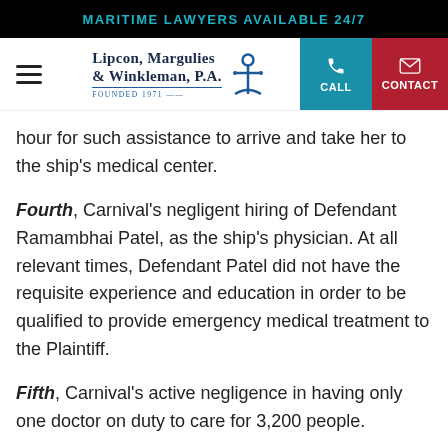MARITIME LAWYERS AVAILABLE 24/7
[Figure (logo): Lipcon, Margulies & Winkleman, P.A. Founded 1971 law firm logo with anchor icon, plus CALL and CONTACT navigation buttons]
hour for such assistance to arrive and take her to the ship's medical center.
Fourth, Carnival's negligent hiring of Defendant Ramambhai Patel, as the ship's physician. At all relevant times, Defendant Patel did not have the requisite experience and education in order to be qualified to provide emergency medical treatment to the Plaintiff.
Fifth, Carnival's active negligence in having only one doctor on duty to care for 3,200 people.